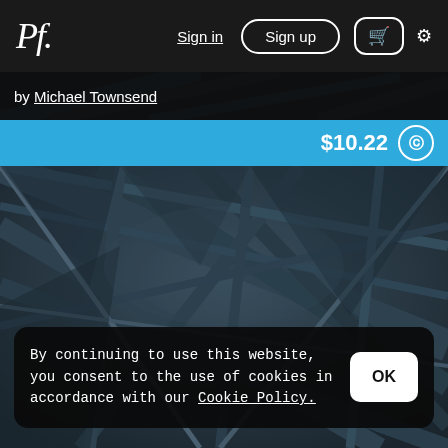Pf. Sign in  Sign up  🛒  ⚙
by Michael Townsend
$10.22 ©
[Figure (photo): Architectural photograph of steel structural beams/trusses viewed from below at an angle, in dark blue-gray tones]
By continuing to use this website, you consent to the use of cookies in accordance with our Cookie Policy.